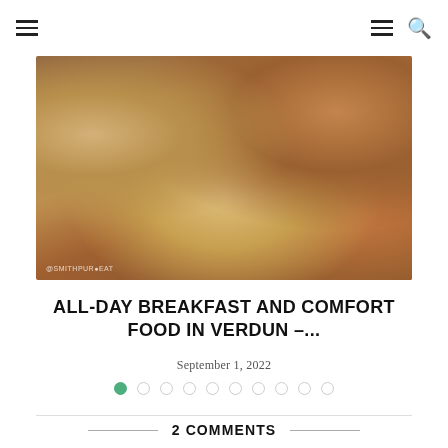Navigation bar with hamburger menu and search icon
[Figure (photo): Overhead view of a breakfast spread on a wooden table: pancakes on a white plate with blue/grey rim on the left, toast with butter on a floral plate in the center, fried egg visible, roasted potato cubes in a bowl on the right, knife and napkin visible. Watermark reads @SMITHPUREAT.]
ALL-DAY BREAKFAST AND COMFORT FOOD IN VERDUN –...
September 1, 2022
Slideshow dots: 10 dots, first one active (green)
2 COMMENTS